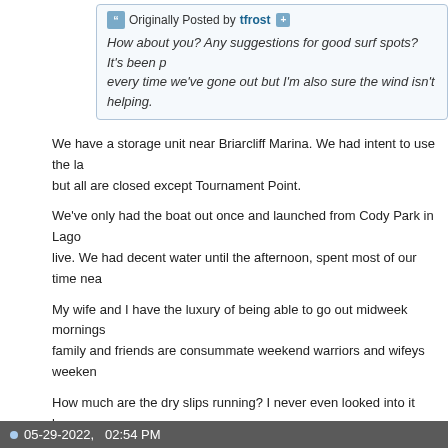Originally Posted by tfrost
How about you? Any suggestions for good surf spots? It's been pu every time we've gone out but I'm also sure the wind isn't helping.
We have a storage unit near Briarcliff Marina. We had intent to use the la but all are closed except Tournament Point.
We've only had the boat out once and launched from Cody Park in Lago live. We had decent water until the afternoon, spent most of our time nea
My wife and I have the luxury of being able to go out midweek mornings family and friends are consummate weekend warriors and wifeys weeken
How much are the dry slips running? I never even looked into it because schedule, but now with ramps closing we may not even be able to launch
Making my new SA build come true!!!
2020 SA 450 Wife calls it White Cloud. Said it makes her feel "Classy"
2017 Sanger V215sx. We call it Viagra because it's the little blue pill that
05-29-2022, 02:54 PM